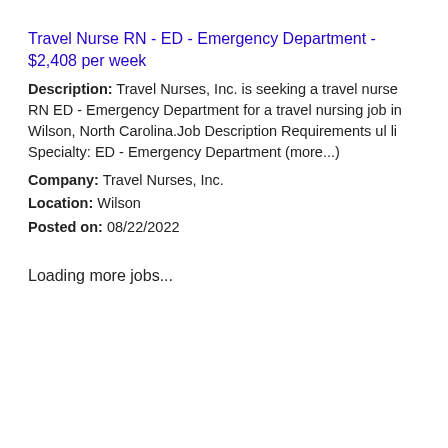Travel Nurse RN - ED - Emergency Department - $2,408 per week
Description: Travel Nurses, Inc. is seeking a travel nurse RN ED - Emergency Department for a travel nursing job in Wilson, North Carolina.Job Description Requirements ul li Specialty: ED - Emergency Department (more...)
Company: Travel Nurses, Inc.
Location: Wilson
Posted on: 08/22/2022
Loading more jobs...